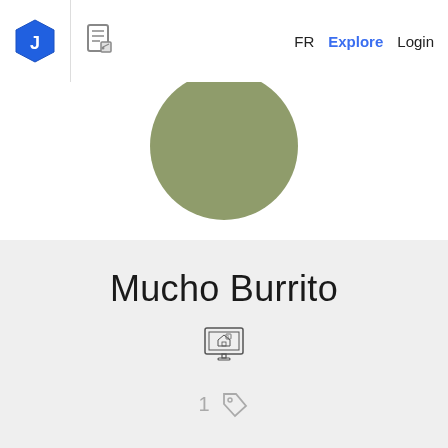FR  Explore  Login
[Figure (illustration): Olive/green circular profile avatar, partially visible at top]
Mucho Burrito
[Figure (illustration): Monitor/screen icon representing online presence]
1  (tag icon)
0  (briefcase icon)
120  (eye/star icon)